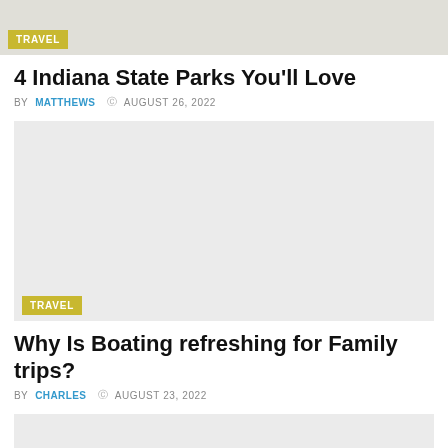[Figure (photo): Top partial travel article image with TRAVEL badge overlay]
4 Indiana State Parks You'll Love
BY MATTHEWS  © AUGUST 26, 2022
[Figure (photo): Gray placeholder image for boating article with TRAVEL badge at bottom left]
Why Is Boating refreshing for Family trips?
BY CHARLES  © AUGUST 23, 2022
[Figure (photo): Bottom partial gray placeholder image for next article]